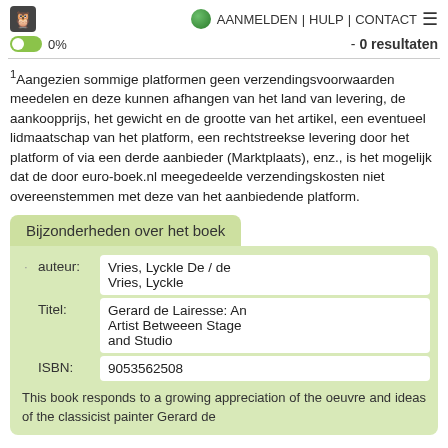AANMELDEN | HULP | CONTACT
0%   - 0 resultaten
1Aangezien sommige platformen geen verzendingsvoorwaarden meedelen en deze kunnen afhangen van het land van levering, de aankoopprijs, het gewicht en de grootte van het artikel, een eventueel lidmaatschap van het platform, een rechtstreekse levering door het platform of via een derde aanbieder (Marktplaats), enz., is het mogelijk dat de door euro-boek.nl meegedeelde verzendingskosten niet overeenstemmen met deze van het aanbiedende platform.
Bijzonderheden over het boek
|  | auteur: | Vries, Lyckle De / de Vries, Lyckle |
| --- | --- | --- |
|  | Titel: | Gerard de Lairesse: An Artist Betweeen Stage and Studio |
|  | ISBN: | 9053562508 |
This book responds to a growing appreciation of the oeuvre and ideas of the classicist painter Gerard de